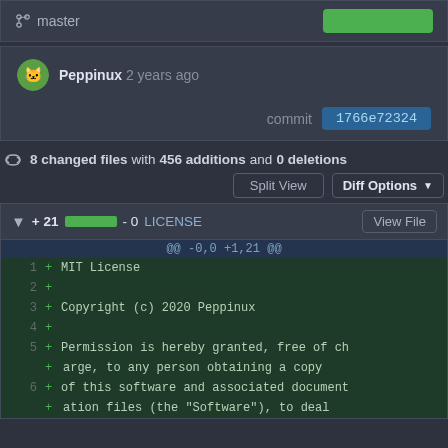master
Peppinux 2 years ago
commit 1766e72324
8 changed files with 456 additions and 0 deletions
Split View  Diff Options
+21 -0 LICENSE  View File
@@ -0,0 +1,21 @@
1 + MIT License
2 +
3 + Copyright (c) 2020 Peppinux
4 +
5 + Permission is hereby granted, free of charge, to any person obtaining a copy
6 + of this software and associated document
   + ation files (the "Software"), to deal